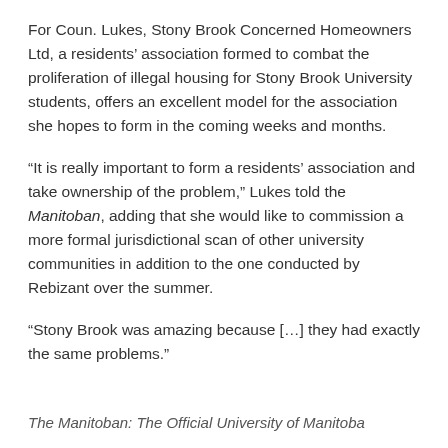For Coun. Lukes, Stony Brook Concerned Homeowners Ltd, a residents’ association formed to combat the proliferation of illegal housing for Stony Brook University students, offers an excellent model for the association she hopes to form in the coming weeks and months.
“It is really important to form a residents’ association and take ownership of the problem,” Lukes told the Manitoban, adding that she would like to commission a more formal jurisdictional scan of other university communities in addition to the one conducted by Rebizant over the summer.
“Stony Brook was amazing because […] they had exactly the same problems.”
The Manitoban: The Official University of Manitoba